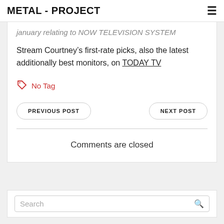METAL - PROJECT
january relating to NOW TELEVISION SYSTEM
Stream Courtney’s first-rate picks, also the latest additionally best monitors, on TODAY TV
No Tag
PREVIOUS POST
NEXT POST
Comments are closed
Search